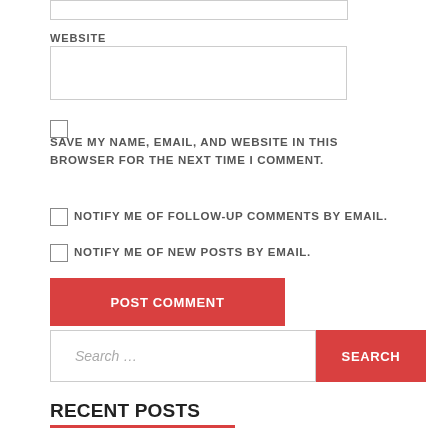WEBSITE
SAVE MY NAME, EMAIL, AND WEBSITE IN THIS BROWSER FOR THE NEXT TIME I COMMENT.
NOTIFY ME OF FOLLOW-UP COMMENTS BY EMAIL.
NOTIFY ME OF NEW POSTS BY EMAIL.
POST COMMENT
Search...
SEARCH
RECENT POSTS